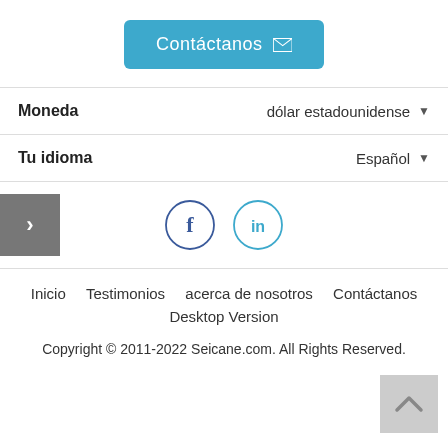[Figure (other): Blue contact button with envelope icon labelled Contáctanos]
Moneda   dólar estadounidense ▼
Tu idioma   Español ▼
[Figure (other): Navigation chevron and social media icons: Facebook and LinkedIn circles]
Inicio   Testimonios   acerca de nosotros   Contáctanos
Desktop Version
Copyright © 2011-2022 Seicane.com. All Rights Reserved.
[Figure (other): Grey back-to-top button with upward chevron]